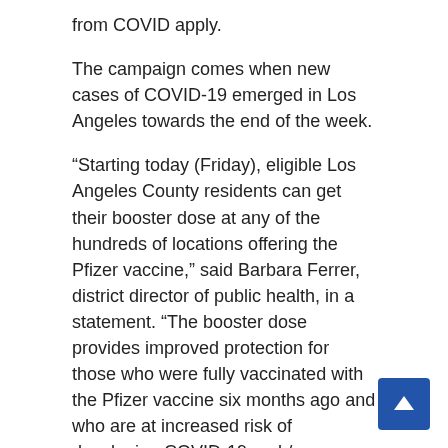from COVID apply.
The campaign comes when new cases of COVID-19 emerged in Los Angeles towards the end of the week.
“Starting today (Friday), eligible Los Angeles County residents can get their booster dose at any of the hundreds of locations offering the Pfizer vaccine,” said Barbara Ferrer, district director of public health, in a statement. “The booster dose provides improved protection for those who were fully vaccinated with the Pfizer vaccine six months ago and who are at increased risk of developing COVID-19 and / or developing serious illness from COVID, who prioritize the first doses to those who are eligible and have not yet been vaccinated. ”
A CDC advisory panel on Thursday recommended